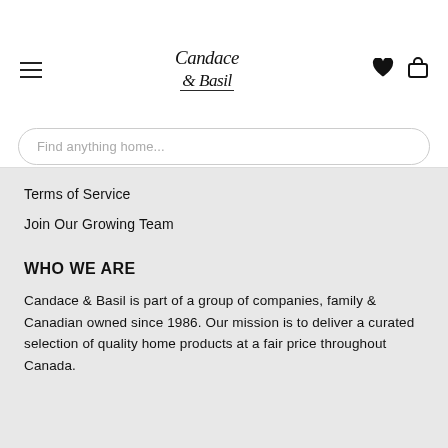Candace & Basil — navigation header with logo, hamburger menu, heart and bag icons, and search bar
Terms of Service
Join Our Growing Team
WHO WE ARE
Candace & Basil is part of a group of companies, family & Canadian owned since 1986. Our mission is to deliver a curated selection of quality home products at a fair price throughout Canada.